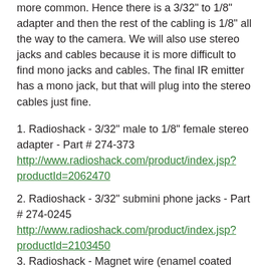more common. Hence there is a 3/32" to 1/8" adapter and then the rest of the cabling is 1/8" all the way to the camera. We will also use stereo jacks and cables because it is more difficult to find mono jacks and cables. The final IR emitter has a mono jack, but that will plug into the stereo cables just fine.
1. Radioshack - 3/32" male to 1/8" female stereo adapter - Part # 274-373
http://www.radioshack.com/product/index.jsp?productId=2062470
2. Radioshack - 3/32" submini phone jacks - Part # 274-0245
http://www.radioshack.com/product/index.jsp?productId=2103450
3. Radioshack - Magnet wire (enamel coated wire) -